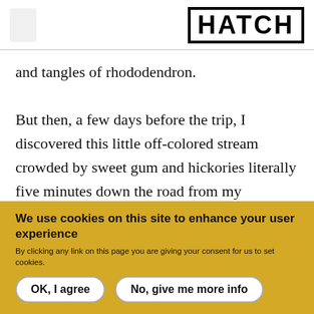HATCH
and tangles of rhododendron.
But then, a few days before the trip, I discovered this little off-colored stream crowded by sweet gum and hickories literally five minutes down the road from my Arkansas home. Its waters were crammed full of feisty longear sunfish, gluttonous green sunfish, and smallish spotted bass. And all of those fish were
We use cookies on this site to enhance your user experience
By clicking any link on this page you are giving your consent for us to set cookies.
OK, I agree
No, give me more info